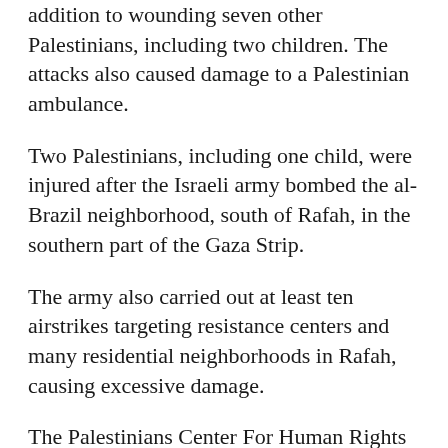addition to wounding seven other Palestinians, including two children. The attacks also caused damage to a Palestinian ambulance.
Two Palestinians, including one child, were injured after the Israeli army bombed the al-Brazil neighborhood, south of Rafah, in the southern part of the Gaza Strip.
The army also carried out at least ten airstrikes targeting resistance centers and many residential neighborhoods in Rafah, causing excessive damage.
The Palestinians Center For Human Rights (PCHR) said its field researchers and teams are still documenting and validating the latest incidents...